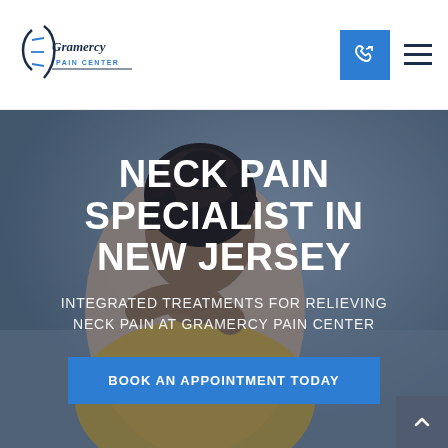[Figure (logo): Gramercy Pain Center logo with stylized spine/figure icon and cursive text]
[Figure (photo): Woman sitting on couch holding her neck in pain, blurred background]
NECK PAIN SPECIALIST IN NEW JERSEY
INTEGRATED TREATMENTS FOR RELIEVING NECK PAIN AT GRAMERCY PAIN CENTER
BOOK AN APPOINTMENT TODAY